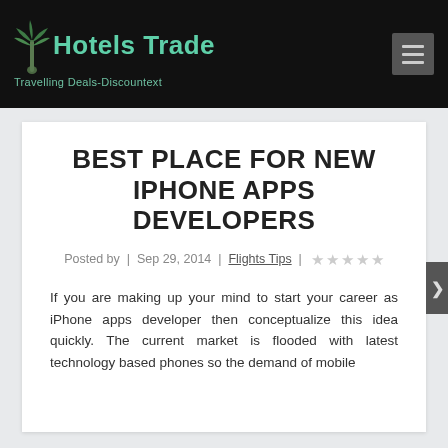Hotels Trade — Travelling Deals-Discountext
BEST PLACE FOR NEW IPHONE APPS DEVELOPERS
Posted by | Sep 29, 2014 | Flights Tips |
If you are making up your mind to start your career as iPhone apps developer then conceptualize this idea quickly. The current market is flooded with latest technology based phones so the demand of mobile